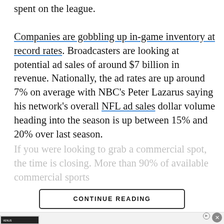spent on the league. Companies are gobbling up in-game inventory at record rates. Broadcasters are looking at potential ad sales of around $7 billion in revenue. Nationally, the ad rates are up around 7% on average with NBC's Peter Lazarus saying his network's overall NFL ad sales dollar volume heading into the season is up between 15% and 20% over last season.
If you were looking to grab a commercial spot, the time is closing. More than 90% of available commercial sports [faded/obscured text]
CONTINUE READING
[Figure (other): Advertisement banner: Women's Fashion | Shop Online | VENUS. Shop the best in women's fashion, clothing, swimwear. venus.com. Shows a thumbnail image and a navigation arrow button.]